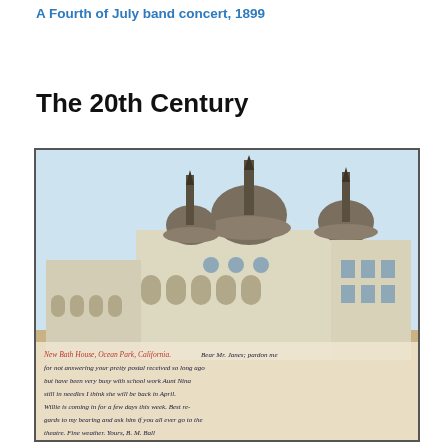A Fourth of July band concert, 1899
The 20th Century
[Figure (photo): A vintage postcard showing the New Bath House, Ocean Park, California. The building has Moorish-style architecture with domes and arched windows. On the lower portion of the postcard is handwritten text: 'Dear Mr. Janes; pardon me for not answering your pretty postal received so long ago but have been very busy with school work Aunt Nina still in needles I think she will be back in April. Willie is coming in for a few days this week. Best regards to my bearing and ask him if you all ever go to the theatre. Fine weather. Yours, B. M. Ball']